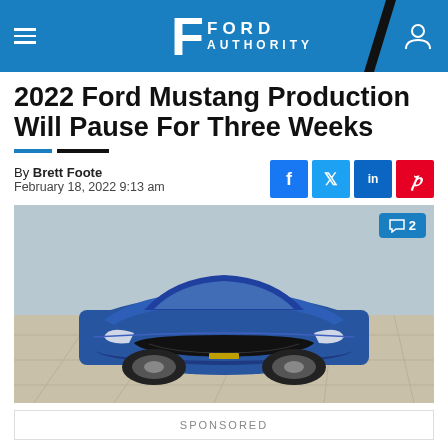Ford Authority
2022 Ford Mustang Production Will Pause For Three Weeks
By Brett Foote
February 18, 2022 9:13 am
[Figure (photo): Blue Ford Mustang photographed from the front at a low angle on a concrete surface outdoors]
SPONSORED